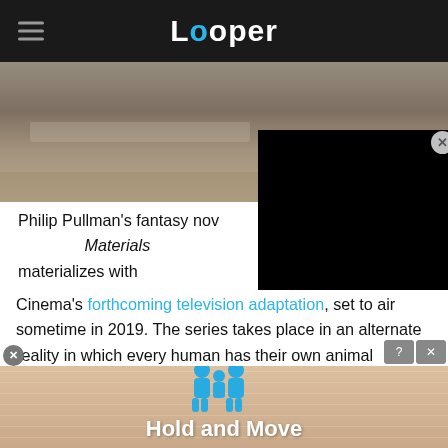Looper
[Figure (photo): Outdoor scene photo strip at top of article]
[Figure (screenshot): Black video player overlay on right side]
Philip Pullman's fantasy nove[l His Dark] Materials materializes with [BBC One and Bad Wolf / New Line Cinema's] forthcoming television adaptation, set to air sometime in 2019. The series takes place in an alternate reality in which every human has their own animal companion, known as a dæmon, that represents the physical manifestation of their soul.
[Figure (photo): Advertisement banner at bottom showing Hold and Move game with blue cartoon characters on a striped background]